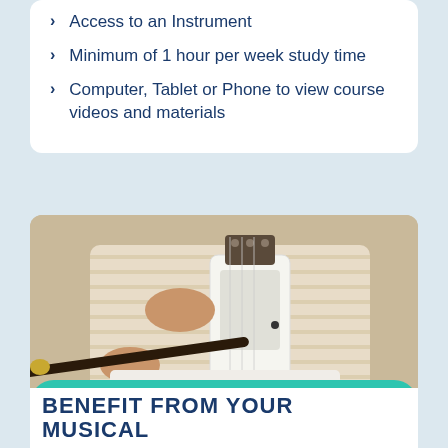Access to an Instrument
Minimum of 1 hour per week study time
Computer, Tablet or Phone to view course videos and materials
[Figure (photo): Person sitting cross-legged playing a sarangi (Indian string instrument), wearing a striped beige kurta, holding a bow]
REGISTER NOW!
BENEFIT FROM YOUR MUSICAL